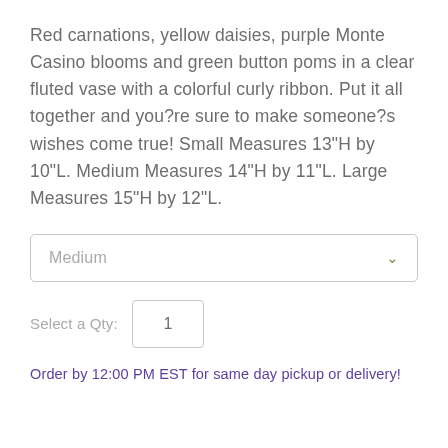Red carnations, yellow daisies, purple Monte Casino blooms and green button poms in a clear fluted vase with a colorful curly ribbon. Put it all together and you?re sure to make someone?s wishes come true! Small Measures 13"H by 10"L. Medium Measures 14"H by 11"L. Large Measures 15"H by 12"L.
Medium
Select a Qty: 1
Order by 12:00 PM EST for same day pickup or delivery!